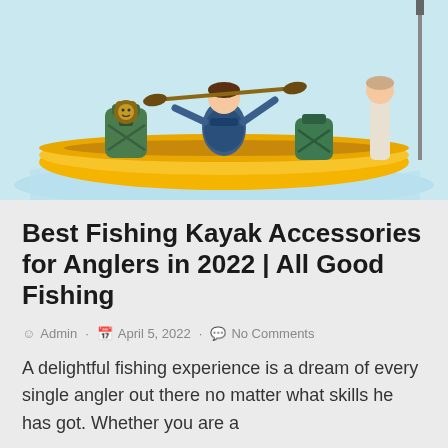[Figure (illustration): Illustration of two people paddling a yellow kayak on light blue water, with backpacks and gear in the kayak. The image is cropped showing only the lower portion of the kayak scene.]
Best Fishing Kayak Accessories for Anglers in 2022 | All Good Fishing
Admin · April 5, 2022 · No Comments
A delightful fishing experience is a dream of every single angler out there no matter what skills he has got. Whether you are a